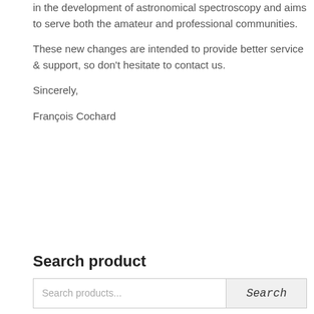in the development of astronomical spectroscopy and aims to serve both the amateur and professional communities.
These new changes are intended to provide better service & support, so don't hesitate to contact us.
Sincerely,
François Cochard
Search product
Search products...